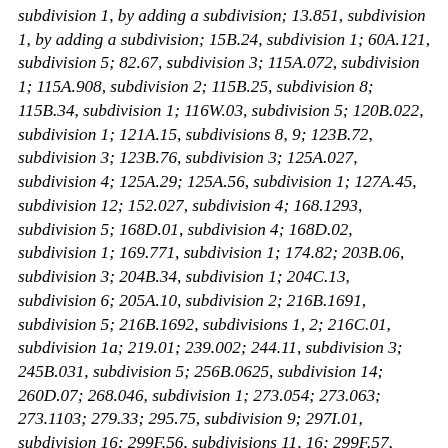subdivision 1, by adding a subdivision; 13.851, subdivision 1, by adding a subdivision; 15B.24, subdivision 1; 60A.121, subdivision 5; 82.67, subdivision 3; 115A.072, subdivision 1; 115A.908, subdivision 2; 115B.25, subdivision 8; 115B.34, subdivision 1; 116W.03, subdivision 5; 120B.022, subdivision 1; 121A.15, subdivisions 8, 9; 123B.72, subdivision 3; 123B.76, subdivision 3; 125A.027, subdivision 4; 125A.29; 125A.56, subdivision 1; 127A.45, subdivision 12; 152.027, subdivision 4; 168.1293, subdivision 5; 168D.01, subdivision 4; 168D.02, subdivision 1; 169.771, subdivision 1; 174.82; 203B.06, subdivision 3; 204B.34, subdivision 1; 204C.13, subdivision 6; 205A.10, subdivision 2; 216B.1691, subdivision 5; 216B.1692, subdivisions 1, 2; 216C.01, subdivision 1a; 219.01; 239.002; 244.11, subdivision 3; 245B.031, subdivision 5; 256B.0625, subdivision 14; 260D.07; 268.046, subdivision 1; 273.054; 273.063; 273.1103; 279.33; 295.75, subdivision 9; 297I.01, subdivision 16; 299F.56, subdivisions 11, 16; 299F.57, subdivision 1; 299J.03, subdivision 2; 299M.03, subdivision 2; 326B.118; 326B.986